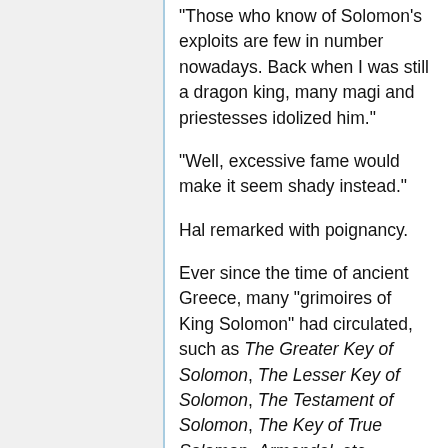"Those who know of Solomon's exploits are few in number nowadays. Back when I was still a dragon king, many magi and priestesses idolized him."
"Well, excessive fame would make it seem shady instead."
Hal remarked with poignancy.
Ever since the time of ancient Greece, many "grimoires of King Solomon" had circulated, such as The Greater Key of Solomon, The Lesser Key of Solomon, The Testament of Solomon, The Key of True Solomon, Armandal, etc...
Anyone with some interest in the occult would have heard of these titles, to greater or lesser extents, even if they were not experts on the subject of magic.